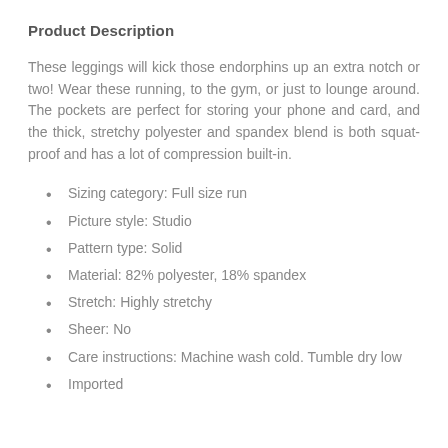Product Description
These leggings will kick those endorphins up an extra notch or two! Wear these running, to the gym, or just to lounge around. The pockets are perfect for storing your phone and card, and the thick, stretchy polyester and spandex blend is both squat-proof and has a lot of compression built-in.
Sizing category: Full size run
Picture style: Studio
Pattern type: Solid
Material: 82% polyester, 18% spandex
Stretch: Highly stretchy
Sheer: No
Care instructions: Machine wash cold. Tumble dry low
Imported